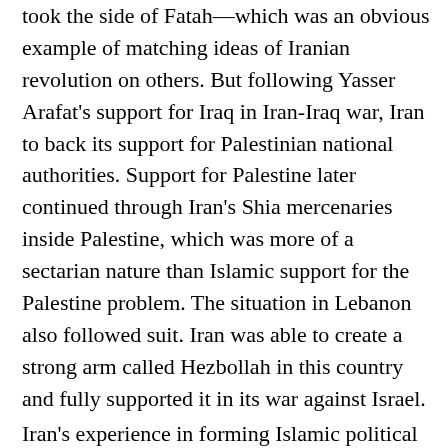took the side of Fatah—which was an obvious example of matching ideas of Iranian revolution on others. But following Yasser Arafat's support for Iraq in Iran-Iraq war, Iran to back its support for Palestinian national authorities. Support for Palestine later continued through Iran's Shia mercenaries inside Palestine, which was more of a sectarian nature than Islamic support for the Palestine problem. The situation in Lebanon also followed suit. Iran was able to create a strong arm called Hezbollah in this country and fully supported it in its war against Israel. Iran's experience in forming Islamic political establishment was successful, but this idea was not attractive for Arab countries or Sunni countries in other political regions. Khomeini himself was severely criticized by other Shia communities, because this ideology was in contrast with typical role of the clergy in Shia communities, giving the clergy supervisory authorities over public policies and decision-making under the Jurist Leadership. This caused the